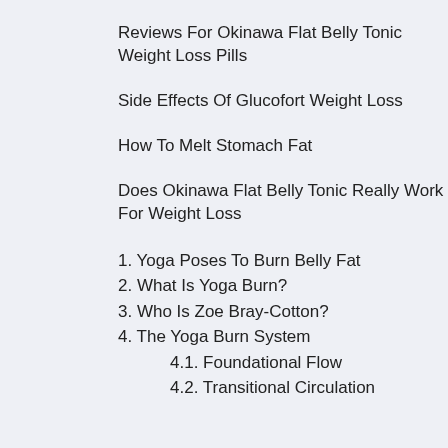Reviews For Okinawa Flat Belly Tonic Weight Loss Pills
Side Effects Of Glucofort Weight Loss
How To Melt Stomach Fat
Does Okinawa Flat Belly Tonic Really Work For Weight Loss
1. Yoga Poses To Burn Belly Fat
2. What Is Yoga Burn?
3. Who Is Zoe Bray-Cotton?
4. The Yoga Burn System
4.1. Foundational Flow
4.2. Transitional Circulation